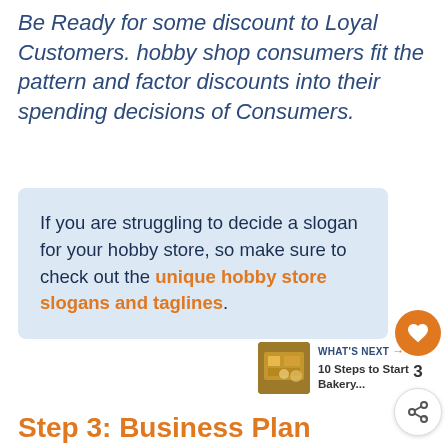Be Ready for some discount to Loyal Customers. hobby shop consumers fit the pattern and factor discounts into their spending decisions of Consumers.
If you are struggling to decide a slogan for your hobby store, so make sure to check out the unique hobby store slogans and taglines.
[Figure (infographic): Social interaction buttons: orange heart/like button and a share button with count of 3]
[Figure (photo): What's Next promo box: thumbnail image of bakery with text '10 Steps to Start Bakery...']
Step 3: Business Plan